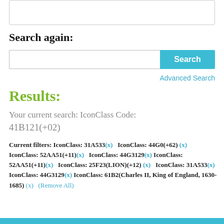[Figure (screenshot): Top box with border, partial UI element]
Search again:
[Figure (screenshot): Search input field with cyan Search button]
Advanced Search
Results:
Your current search: IconClass Code:
41B121(+02)
Current filters: IconClass: 31A533(x)   IconClass: 44G0(+62)(x)   IconClass: 52AA51(+11)(x)   IconClass: 44G3129(x) IconClass: 52AA51(+11)(x)   IconClass: 25F23(LION)(+12)(x)   IconClass: 31A533(x)   IconClass: 44G3129(x) IconClass: 61B2(Charles II, King of England, 1630-1685)(x)   (Remove All)